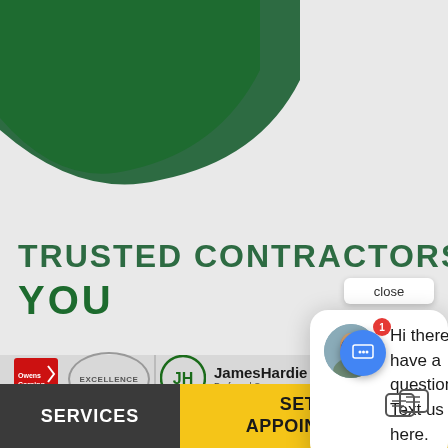[Figure (illustration): Green curved decorative shape at top-left of page, screenshot of a contractor services website]
TRUSTED CONTRACTORS
YOU
close
Hi there, have a question? Text us here.
[Figure (logo): Owens Corning logo (red square with logo mark)]
EXCELLENCE
[Figure (logo): James Hardie Preferred Contractor logo with circular JH emblem]
JamesHardie Preferred Contractor
SERVICES
SET AN APPOINTMENT